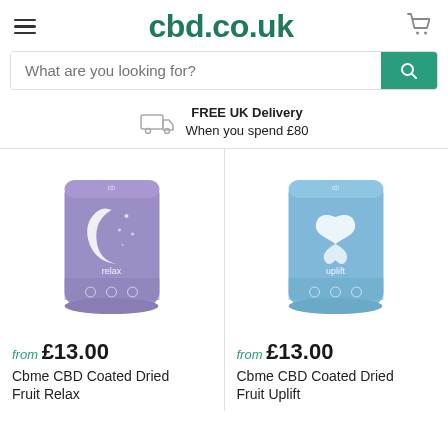cbd.co.uk
What are you looking for?
FREE UK Delivery
When you spend £80
[Figure (photo): Purple pouch bag labeled 'relax' with moon and stars design - Cbme CBD Coated Dried Fruit Relax]
from £13.00
Cbme CBD Coated Dried Fruit Relax
[Figure (photo): Blue pouch bag labeled 'uplift' with snowflake/butterfly design - Cbme CBD Coated Dried Fruit Uplift]
from £13.00
Cbme CBD Coated Dried Fruit Uplift